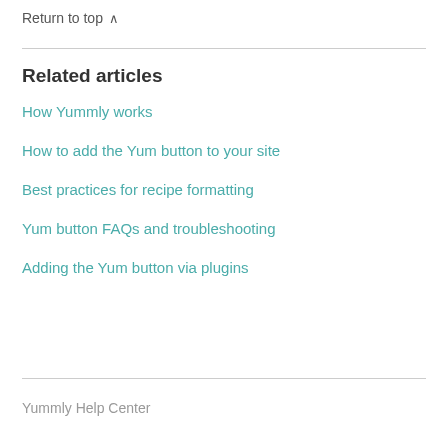Return to top ∧
Related articles
How Yummly works
How to add the Yum button to your site
Best practices for recipe formatting
Yum button FAQs and troubleshooting
Adding the Yum button via plugins
Yummly Help Center